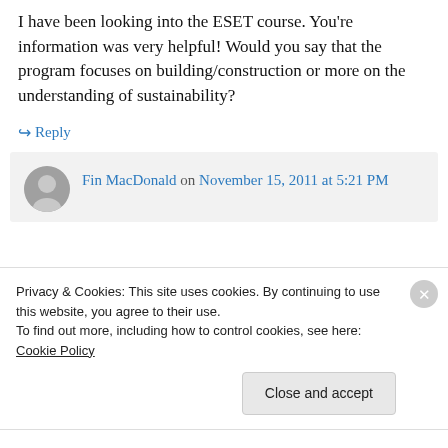I have been looking into the ESET course. You're information was very helpful! Would you say that the program focuses on building/construction or more on the understanding of sustainability?
↪ Reply
Fin MacDonald on November 15, 2011 at 5:21 PM
Privacy & Cookies: This site uses cookies. By continuing to use this website, you agree to their use.
To find out more, including how to control cookies, see here: Cookie Policy
Close and accept